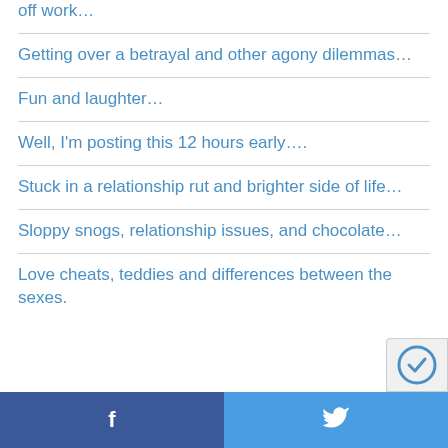off work…
Getting over a betrayal and other agony dilemmas…
Fun and laughter…
Well, I'm posting this 12 hours early….
Stuck in a relationship rut and brighter side of life…
Sloppy snogs, relationship issues, and chocolate…
Love cheats, teddies and differences between the sexes.